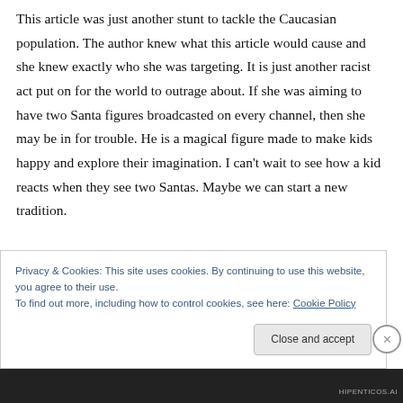This article was just another stunt to tackle the Caucasian population. The author knew what this article would cause and she knew exactly who she was targeting. It is just another racist act put on for the world to outrage about. If she was aiming to have two Santa figures broadcasted on every channel, then she may be in for trouble. He is a magical figure made to make kids happy and explore their imagination. I can't wait to see how a kid reacts when they see two Santas. Maybe we can start a new tradition.
Privacy & Cookies: This site uses cookies. By continuing to use this website, you agree to their use.
To find out more, including how to control cookies, see here: Cookie Policy